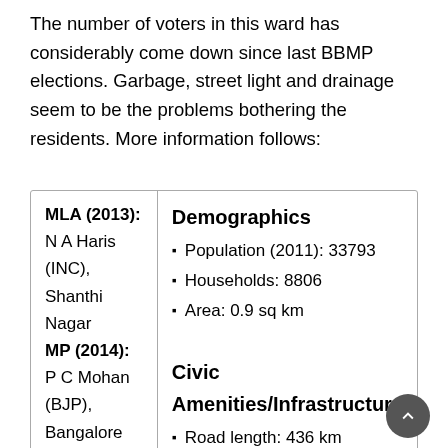The number of voters in this ward has considerably come down since last BBMP elections. Garbage, street light and drainage seem to be the problems bothering the residents. More information follows:
| Left Column | Right Column |
| --- | --- |
| MLA (2013): N A Haris (INC), Shanthi Nagar
MP (2014): P C Mohan (BJP), Bangalore Central
BBMP 2010
Corporator: M. Gowtham Kumar (BJP)
#354/5, 3rd Cross, | Demographics
• Population (2011): 33793
• Households: 8806
• Area: 0.9 sq km
Civic Amenities/Infrastructure
• Road length: 436 km
• Lakes: , Total area: 0
• Parks: 3, Total area: 0.5 sq |